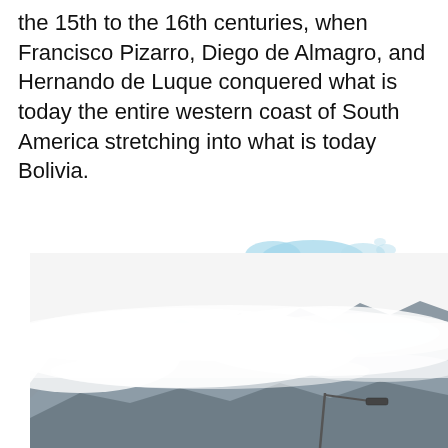the 15th to the 16th centuries, when Francisco Pizarro, Diego de Almagro, and Hernando de Luque conquered what is today the entire western coast of South America stretching into what is today Bolivia.
[Figure (map): Small blue map shape, possibly showing Lake Titicaca or a geographic region related to South America]
[Figure (photo): Photograph of misty mountain landscape with clouds surrounding rocky mountain peaks, a street lamp visible in the foreground]